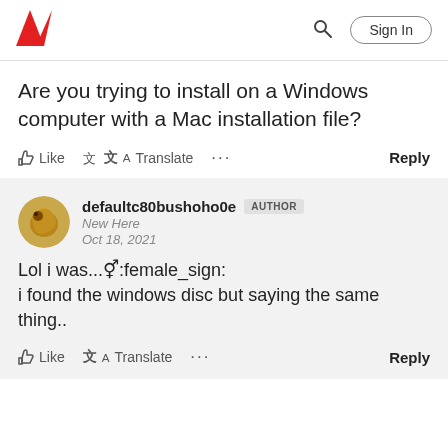Adobe | Sign In
Are you trying to install on a Windows computer with a Mac installation file?
Like  Translate  ...  Reply
defaultc80bushoho0e  AUTHOR
New Here
Oct 18, 2021
Lol i was...🚺:female_sign:
i found the windows disc but saying the same thing..
Like  Translate  ...  Reply